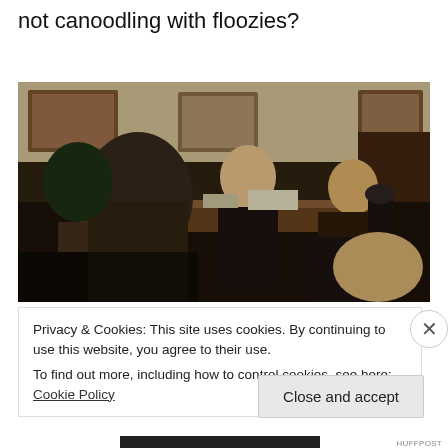not canoodling with floozies?
[Figure (photo): Film still showing three people in a wood-paneled office with artwork on walls. A bald man in the center is speaking to a younger man on the right with longer hair and a leather jacket, while a third person sits with their back to the camera on the left.]
Privacy & Cookies: This site uses cookies. By continuing to use this website, you agree to their use.
To find out more, including how to control cookies, see here: Cookie Policy
Close and accept